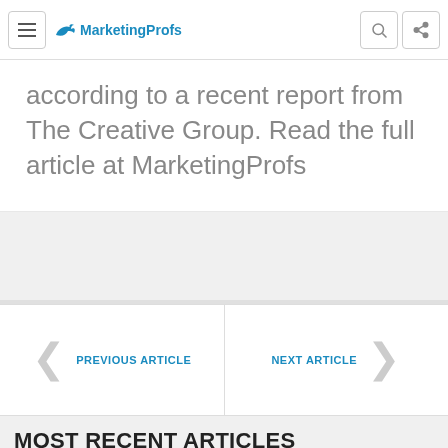MarketingProfs
according to a recent report from The Creative Group. Read the full article at MarketingProfs
PREVIOUS ARTICLE
NEXT ARTICLE
MOST RECENT ARTICLES
[Figure (photo): Thumbnail image of a person (partial view, silhouette style)]
[Figure (photo): Thumbnail image with 'BECOME A SPONSOR' text overlay]